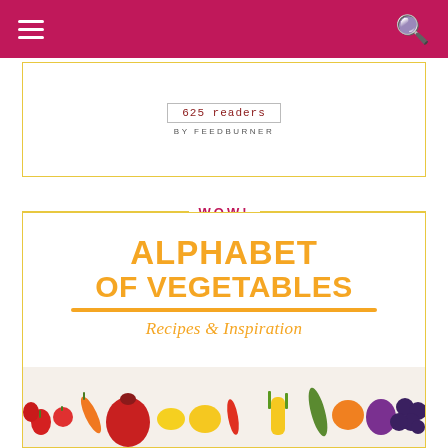Navigation bar with hamburger menu and search icon
[Figure (screenshot): FeedBurner reader count widget showing '625 readers' in a bordered box with 'BY FEEDBURNER' text below]
WOW!
[Figure (infographic): Promotional image for 'ALPHABET of Vegetables — Recipes & Inspiration' book/page, with large orange bold title text, orange underline, italic subtitle in orange, and a strip of colorful vegetables including strawberries, tomatoes, carrots, pomegranate, peppers, corn, zucchini, plum, and grapes at the bottom]